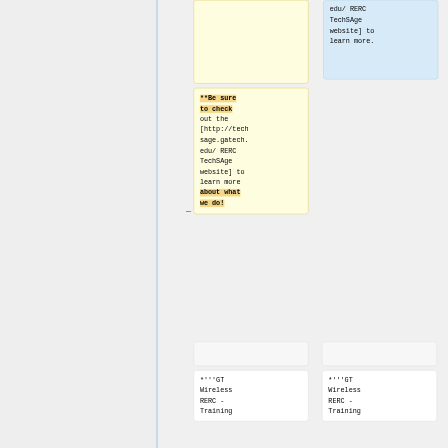edu/ RERC TechSAge website] to learn more.
**Be sure to check out the [http://techsage.gatech.edu/ RERC TechSAge website] to learn more about what we do!
*'''GT Wireless RERC - Training
*'''GT Wireless RERC - Training